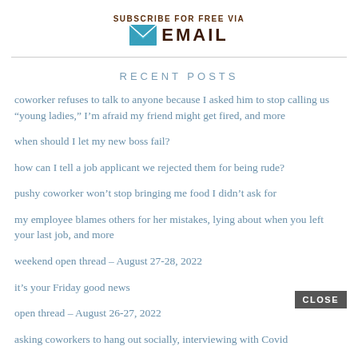[Figure (infographic): Subscribe for free via Email banner with envelope icon and bold EMAIL text]
RECENT POSTS
coworker refuses to talk to anyone because I asked him to stop calling us “young ladies,” I’m afraid my friend might get fired, and more
when should I let my new boss fail?
how can I tell a job applicant we rejected them for being rude?
pushy coworker won’t stop bringing me food I didn’t ask for
my employee blames others for her mistakes, lying about when you left your last job, and more
weekend open thread – August 27-28, 2022
it’s your Friday good news
open thread – August 26-27, 2022
asking coworkers to hang out socially, interviewing with Covid